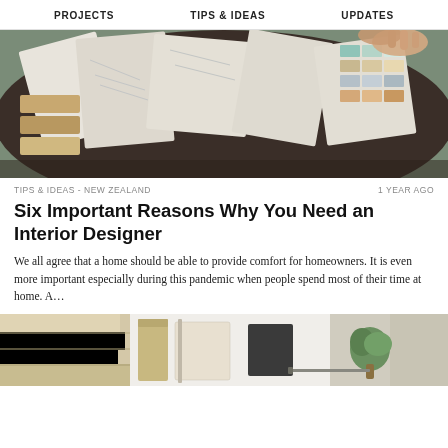PROJECTS   TIPS & IDEAS   UPDATES
[Figure (photo): Overhead view of a designer's desk with material swatches, color samples, fabric samples, and architectural drawings spread out on a dark round table. Two hands are visible reaching for samples.]
TIPS & IDEAS - NEW ZEALAND   1 YEAR AGO
Six Important Reasons Why You Need an Interior Designer
We all agree that a home should be able to provide comfort for homeowners. It is even more important especially during this pandemic when people spend most of their time at home. A...
[Figure (photo): Close-up view of various interior design materials including light wood panels, notebooks, black slate samples, and a small green plant on a white surface.]